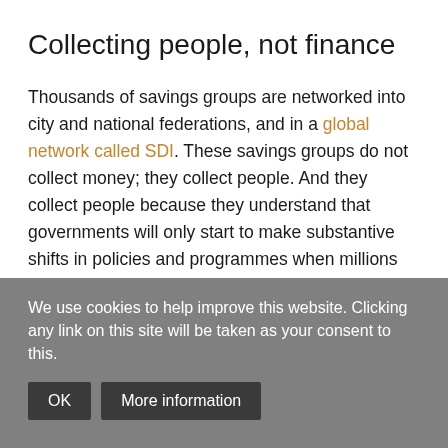Collecting people, not finance
Thousands of savings groups are networked into city and national federations, and in a global network called SDI. These savings groups do not collect money; they collect people. And they collect people because they understand that governments will only start to make substantive shifts in policies and programmes when millions are mobilised. For 21 years, SDI has been building a global social movement from daily savings contributions.
The dozens, hundreds or thousands of savings groups that
We use cookies to help improve this website. Clicking any link on this site will be taken as your consent to this.
OK  More information